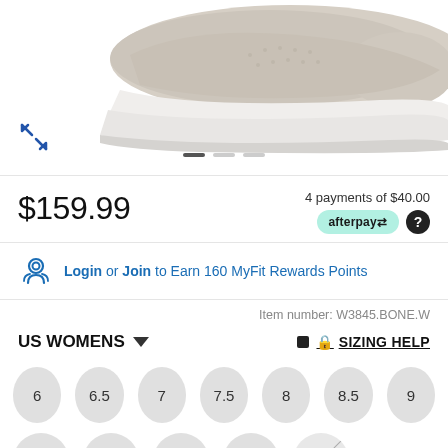[Figure (photo): Product photo of a beige/bone colored women's walking shoe (slip-on style) viewed from the side, showing a white sole. Bottom portion of shoe on white background.]
$159.99
4 payments of $40.00
afterpay
Login or Join to Earn 160 MyFit Rewards Points
Item number: W3845.BONE.W
US WOMENS
SIZING HELP
6
6.5
7
7.5
8
8.5
9
9.5
10
10.5
11
12 (unavailable)